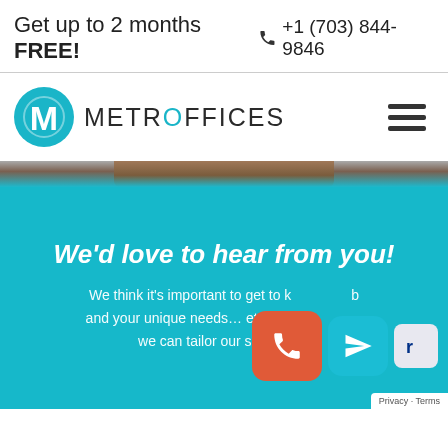Get up to 2 months FREE!
+1 (703) 844-9846
[Figure (logo): Metro Offices logo with teal M circle icon and 'METROOFFICES' text]
[Figure (photo): Partial photo of an office interior with wooden desk, fading into teal background]
We'd love to hear from you!
We think it's important to get to know you, your business and your unique needs… etc. We want to make sure we can tailor our services…
Privacy · Terms